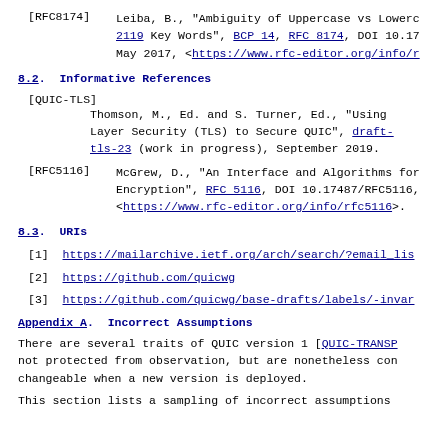[RFC8174]   Leiba, B., "Ambiguity of Uppercase vs Lowercase in RFC 2119 Key Words", BCP 14, RFC 8174, DOI 10.17... May 2017, <https://www.rfc-editor.org/info/r...
8.2. Informative References
[QUIC-TLS]  Thomson, M., Ed. and S. Turner, Ed., "Using Transport Layer Security (TLS) to Secure QUIC", draft-ietf-quic-tls-23 (work in progress), September 2019.
[RFC5116]   McGrew, D., "An Interface and Algorithms for Authenticated Encryption", RFC 5116, DOI 10.17487/RFC5116, <https://www.rfc-editor.org/info/rfc5116>.
8.3. URIs
[1] https://mailarchive.ietf.org/arch/search/?email_lis...
[2] https://github.com/quicwg
[3] https://github.com/quicwg/base-drafts/labels/-invar...
Appendix A. Incorrect Assumptions
There are several traits of QUIC version 1 [QUIC-TRANSP...] not protected from observation, but are nonetheless con... changeable when a new version is deployed.
This section lists a sampling of incorrect assumptions...